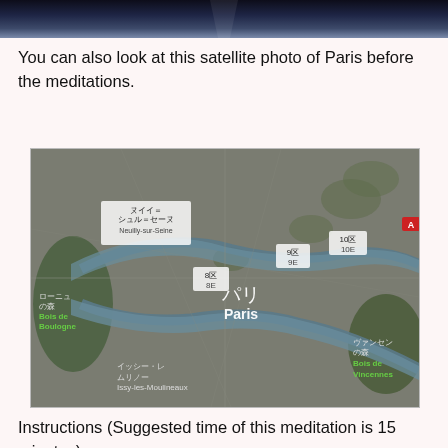[Figure (photo): Top portion of a night sky or dark atmospheric image, cropped at the top of the page]
You can also look at this satellite photo of Paris before the meditations.
[Figure (map): Google Maps satellite view of Paris, France, showing the city from above with the Seine river visible, labeled areas including Neuilly-sur-Seine, Bois de Boulogne, Paris (パリ), 8区/8E, 9区/9E, 10区/10E, Issy-les-Moulineaux, Bois de Vincennes, with Japanese text labels]
Instructions (Suggested time of this meditation is 15 minutes):